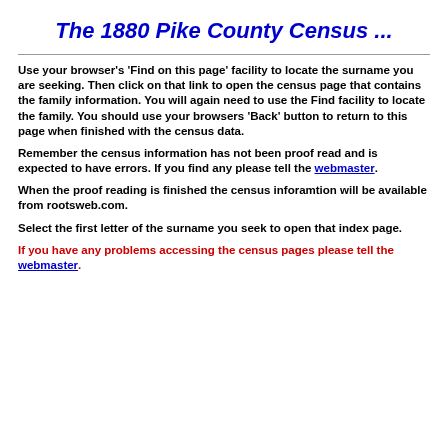The 1880 Pike County Census ...
Use your browser's 'Find on this page' facility to locate the surname you are seeking. Then click on that link to open the census page that contains the family information. You will again need to use the Find facility to locate the family. You should use your browsers 'Back' button to return to this page when finished with the census data.
Remember the census information has not been proof read and is expected to have errors. If you find any please tell the webmaster.
When the proof reading is finished the census inforamtion will be available from rootsweb.com.
Select the first letter of the surname you seek to open that index page.
If you have any problems accessing the census pages please tell the webmaster.